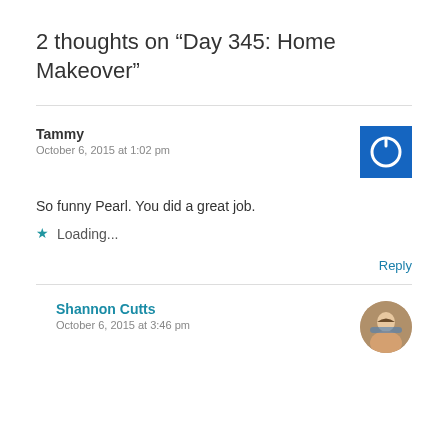2 thoughts on “Day 345: Home Makeover”
Tammy
October 6, 2015 at 1:02 pm
So funny Pearl. You did a great job.
★ Loading...
Reply
Shannon Cutts
October 6, 2015 at 3:46 pm